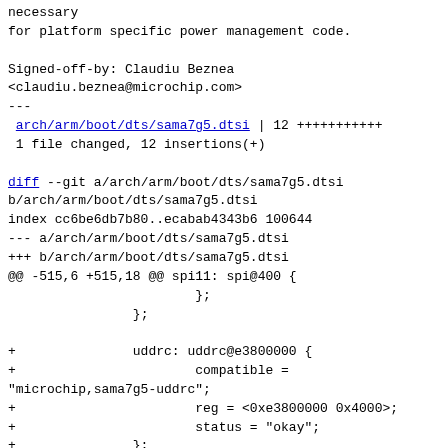necessary
for platform specific power management code.

Signed-off-by: Claudiu Beznea
<claudiu.beznea@microchip.com>
---
 arch/arm/boot/dts/sama7g5.dtsi | 12 +++++++++++
 1 file changed, 12 insertions(+)

diff --git a/arch/arm/boot/dts/sama7g5.dtsi
b/arch/arm/boot/dts/sama7g5.dtsi
index cc6be6db7b80..ecabab4343b6 100644
--- a/arch/arm/boot/dts/sama7g5.dtsi
+++ b/arch/arm/boot/dts/sama7g5.dtsi
@@ -515,6 +515,18 @@ spi11: spi@400 {
                         };
                 };

+                uddrc: uddrc@e3800000 {
+                        compatible =
"microchip,sama7g5-uddrc";
+                        reg = <0xe3800000 0x4000>;
+                        status = "okay";
+                };
+
+                ddr3phy: ddr3phy@e3804000 {
+                        compatible =
"microchip,sama7g5-ddr3phy";
+                        reg = <0xe3804000 0x1000>;
+                        status = "okay";
+